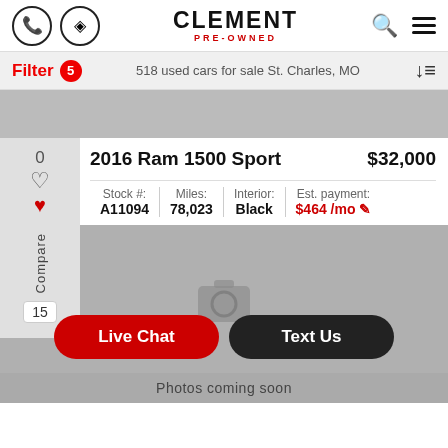CLEMENT PRE-OWNED
Filter 5 — 518 used cars for sale St. Charles, MO
2016 Ram 1500 Sport — $32,000
| Stock #: | Miles: | Interior: | Est. payment: |
| --- | --- | --- | --- |
| A11094 | 78,023 | Black | $464 /mo |
[Figure (photo): Gray placeholder area with camera icon indicating photo coming soon]
Photos coming soon
Live Chat | Text Us